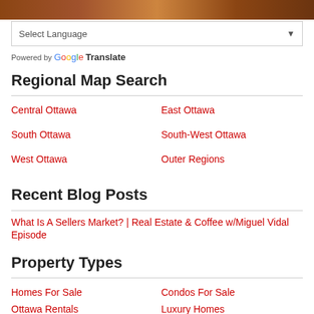[Figure (photo): Hero image with warm brown/orange tones at top of page]
Select Language
Powered by Google Translate
Regional Map Search
Central Ottawa
East Ottawa
South Ottawa
South-West Ottawa
West Ottawa
Outer Regions
Recent Blog Posts
What Is A Sellers Market? | Real Estate & Coffee w/Miguel Vidal Episode
Property Types
Homes For Sale
Condos For Sale
Ottawa Rentals
Luxury Homes